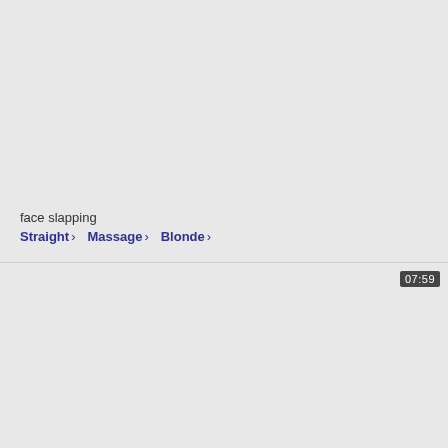[Figure (screenshot): Top video thumbnail area, grey background, no visible image content]
face slapping
Straight › Massage › Blonde ›
[Figure (screenshot): Bottom video thumbnail area, grey background, with duration badge showing 07:59 in top-right corner]